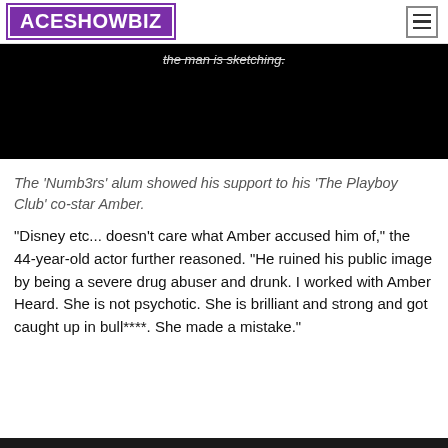ACESHOWBIZ
[Figure (screenshot): Black video player area with partially visible italic strikethrough text reading 'the man is sketching.']
The 'Numb3rs' alum showed his support to his 'The Playboy Club' co-star Amber.
"Disney etc... doesn't care what Amber accused him of," the 44-year-old actor further reasoned. "He ruined his public image by being a severe drug abuser and drunk. I worked with Amber Heard. She is not psychotic. She is brilliant and strong and got caught up in bull****. She made a mistake."